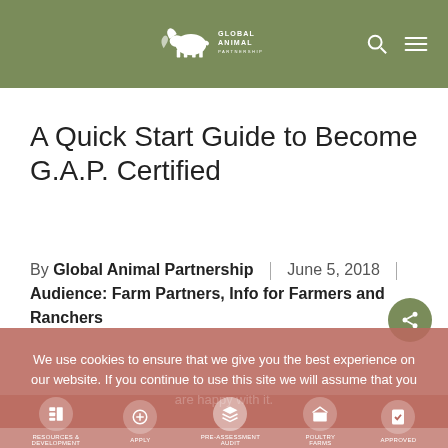Global Animal Partnership
A Quick Start Guide to Become G.A.P. Certified
By Global Animal Partnership | June 5, 2018 | Audience: Farm Partners, Info for Farmers and Ranchers
We use cookies to ensure that we give you the best experience on our website. If you continue to use this site we will assume that you are happy with it.